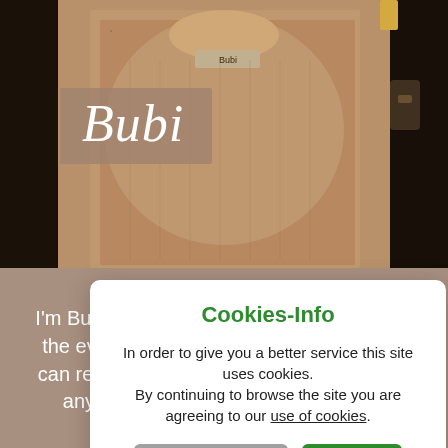[Figure (photo): Photo of Bubi, the night porter, a man in a patterned knit sweater standing in a hotel doorway]
Bubi
I'm Bubi, the night porter. On your return in the evening and throughout the night you can rest assured: I am at your disposal for any need and to supervise the hotel.
Cookies-Info
In order to give you a better service this site uses cookies.
By continuing to browse the site you are agreeing to our use of cookies.
Only technical
Allow